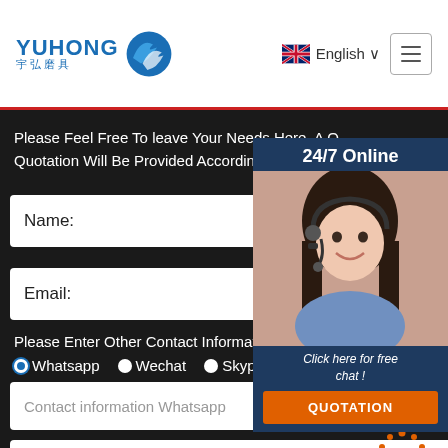[Figure (logo): Yuhong logo with blue wave icon and Chinese characters 宇弘磨具]
English ∨
Please Feel Free To leave Your Needs Here, A Quotation Will Be Provided According To Your R...
[Figure (infographic): 24/7 Online chat panel with agent photo, Click here for free chat!, QUOTATION button]
Name:
Email:
Please Enter Other Contact Information
Whatsapp
Wechat
Skype
Vib...
Contact information Whatsapp
Phone:
Country: